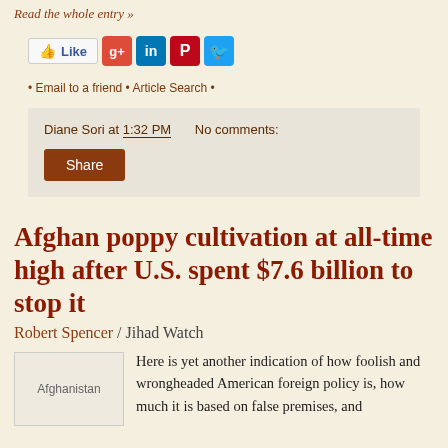Read the whole entry »
[Figure (infographic): Social sharing buttons: Like (Facebook), Google+, LinkedIn, Pinterest, Twitter]
• Email to a friend • Article Search •
Diane Sori at 1:32 PM    No comments:
Share
Afghan poppy cultivation at all-time high after U.S. spent $7.6 billion to stop it
Robert Spencer / Jihad Watch
[Figure (photo): Image placeholder labeled Afghanistan]
Here is yet another indication of how foolish and wrongheaded American foreign policy is, how much it is based on false premises, and